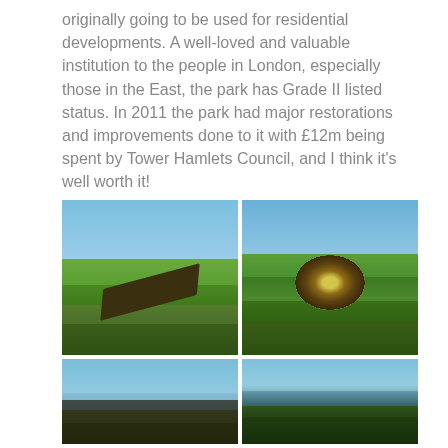originally going to be used for residential developments. A well-loved and valuable institution to the people in London, especially those in the East, the park has Grade II listed status. In 2011 the park had major restorations and improvements done to it with £12m being spent by Tower Hamlets Council, and I think it's well worth it!
[Figure (photo): Four photographs of a London park arranged in a 2x2 grid. Top-left: open green lawn with a rectangular flower bed and blue sky. Top-right: green lawn with a circular flower bed containing yellow flowers, trees in background and blue sky. Bottom-left: silhouette of ornate park gates and structures against blue sky with bare trees. Bottom-right: bare trees silhouetted against blue sky.]